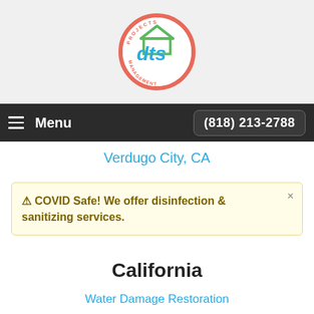[Figure (logo): DTS Projects Management circular logo with house icon, coral/pink border ring, teal 'dts' letters, green roof]
Menu   (818) 213-2788
Verdugo City, CA
⚠ COVID Safe! We offer disinfection & sanitizing services.
California
Water Damage Restoration
Emergency Water Removal
Burst Pipes
Disinfection Services